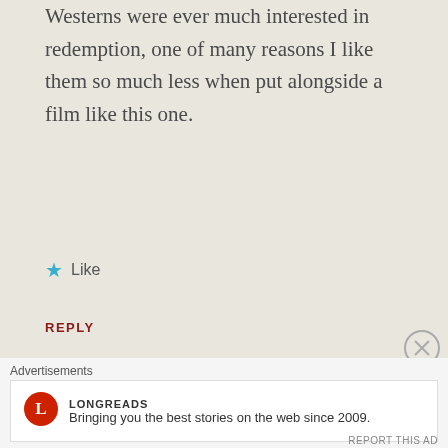Westerns were ever much interested in redemption, one of many reasons I like them so much less when put alongside a film like this one.
★ Like
REPLY
[Figure (photo): Circular avatar image showing silhouette of a person on horseback against a reddish sunset sky]
Colin
APRIL 14, 2018 AT 12:38 AM
Blake, I liked the way you expressed the
Advertisements
[Figure (logo): Longreads logo — red circle with L, text LONGREADS]
Bringing you the best stories on the web since 2009.